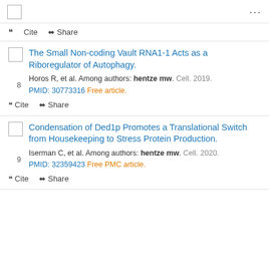Cite  Share
8. The Small Non-coding Vault RNA1-1 Acts as a Riboregulator of Autophagy. Horos R, et al. Among authors: hentze mw. Cell. 2019. PMID: 30773316 Free article. Cite Share
9. Condensation of Ded1p Promotes a Translational Switch from Housekeeping to Stress Protein Production. Iserman C, et al. Among authors: hentze mw. Cell. 2020. PMID: 32359423 Free PMC article. Cite Share